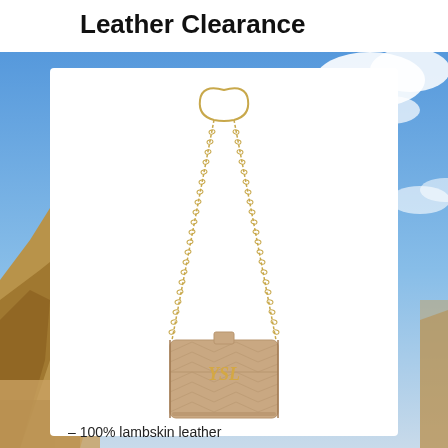Leather Clearance
[Figure (photo): A beige quilted lambskin leather mini crossbody bag with a long gold chain strap and gold YSL logo clasp, displayed on a white background inside a product card. The background of the page shows a desert landscape with blue sky.]
– 100% lambskin leather